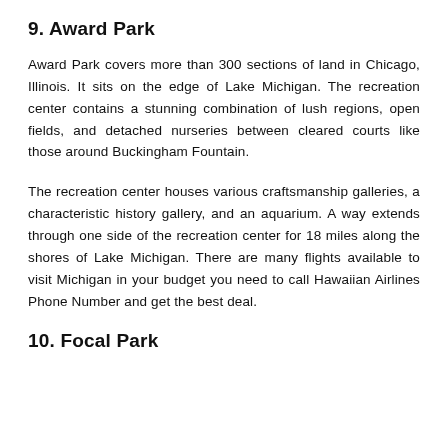9. Award Park
Award Park covers more than 300 sections of land in Chicago, Illinois. It sits on the edge of Lake Michigan. The recreation center contains a stunning combination of lush regions, open fields, and detached nurseries between cleared courts like those around Buckingham Fountain.
The recreation center houses various craftsmanship galleries, a characteristic history gallery, and an aquarium. A way extends through one side of the recreation center for 18 miles along the shores of Lake Michigan. There are many flights available to visit Michigan in your budget you need to call Hawaiian Airlines Phone Number and get the best deal.
10. Focal Park